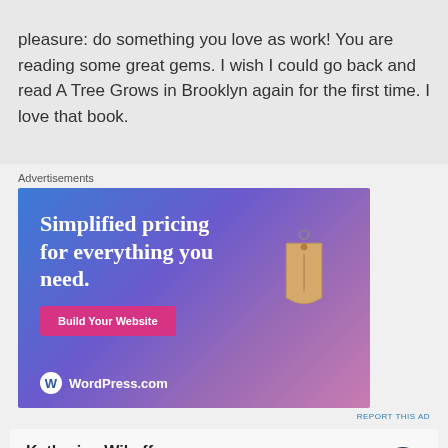pleasure: do something you love as work! You are reading some great gems. I wish I could go back and read A Tree Grows in Brooklyn again for the first time. I love that book.
Advertisements
[Figure (screenshot): WordPress.com advertisement banner with gradient blue-purple background. Text reads 'Simplified pricing for everything you need.' with a pink 'Build Your Website' button and a price tag graphic. WordPress.com logo at the bottom.]
REPORT THIS AD
Katherine Wikoff
July 24, 2017 at 11:07 am